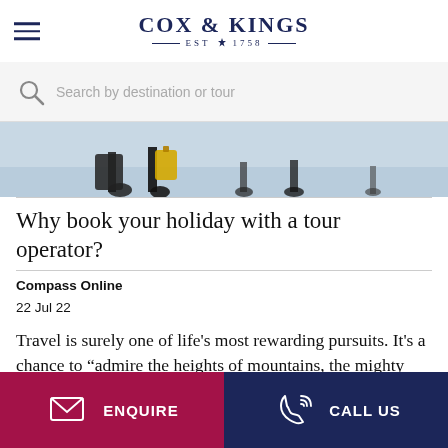COX & KINGS — EST ❧ 1758 —
Search by destination or tour
[Figure (photo): Bottom portion of a travel photo showing luggage and people at an airport or travel terminal]
Why book your holiday with a tour operator?
Compass Online
22 Jul 22
Travel is surely one of life's most rewarding pursuits. It's a chance to "admire the heights of mountains, the mighty billows of
ENQUIRE  CALL US